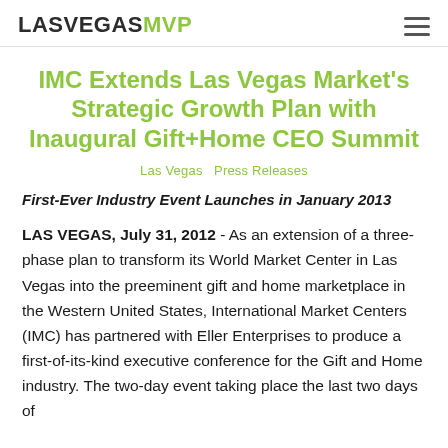LASVEGASMVP
IMC Extends Las Vegas Market's Strategic Growth Plan with Inaugural Gift+Home CEO Summit
Las Vegas  Press Releases
First-Ever Industry Event Launches in January 2013
LAS VEGAS, July 31, 2012 - As an extension of a three-phase plan to transform its World Market Center in Las Vegas into the preeminent gift and home marketplace in the Western United States, International Market Centers (IMC) has partnered with Eller Enterprises to produce a first-of-its-kind executive conference for the Gift and Home industry. The two-day event taking place the last two days of